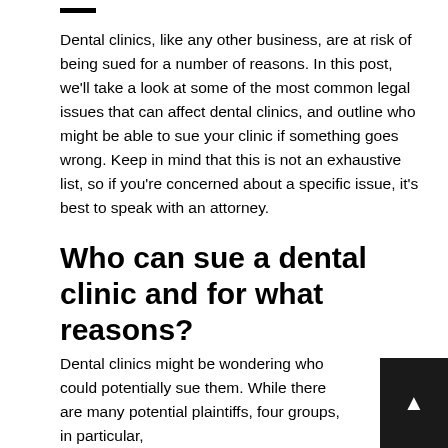Dental clinics, like any other business, are at risk of being sued for a number of reasons. In this post, we'll take a look at some of the most common legal issues that can affect dental clinics, and outline who might be able to sue your clinic if something goes wrong. Keep in mind that this is not an exhaustive list, so if you're concerned about a specific issue, it's best to speak with an attorney.
Who can sue a dental clinic and for what reasons?
Dental clinics might be wondering who could potentially sue them. While there are many potential plaintiffs, four groups, in particular,